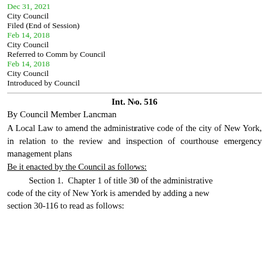Dec 31, 2021
City Council
Filed (End of Session)
Feb 14, 2018
City Council
Referred to Comm by Council
Feb 14, 2018
City Council
Introduced by Council
Int. No. 516
By Council Member Lancman
A Local Law to amend the administrative code of the city of New York, in relation to the review and inspection of courthouse emergency management plans
Be it enacted by the Council as follows:
Section 1.  Chapter 1 of title 30 of the administrative code of the city of New York is amended by adding a new section 30-116 to read as follows: